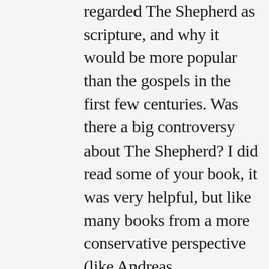regarded The Shepherd as scripture, and why it would be more popular than the gospels in the first few centuries. Was there a big controversy about The Shepherd? I did read some of your book, it was very helpful, but like many books from a more conservative perspective (like Andreas Kostenberger's The Cradle, the Cross, and the Crown) It seems to leave out some rich details about early Christianity despite it's high quality. this is a difficulty especially when trying to use these books as a contrast to works by Robert M